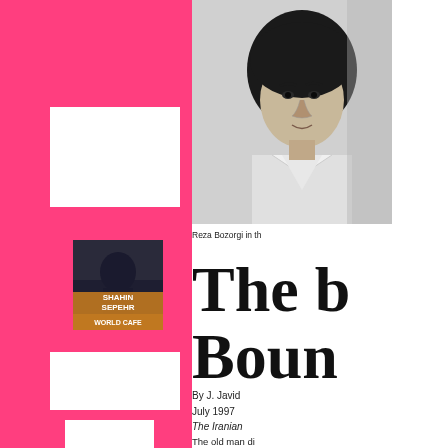[Figure (other): Pink/magenta left column with white rectangles and a small album cover image labeled SHAHIN SEPEHR WORLD CAFE]
[Figure (photo): Black and white portrait photo of Reza Bozorgi, a young man in a light jacket]
Reza Bozorgi in th
The B Boun
By J. Javid
July 1997
The Iranian
The old man di